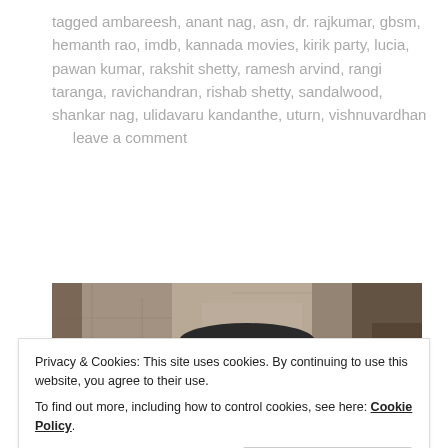tagged ambareesh, anant nag, asn, dr. rajkumar, gbsm, hemanth rao, imdb, kannada movies, kirik party, lucia, pawan kumar, rakshit shetty, ramesh arvind, rangi taranga, ravichandran, rishab shetty, sandalwood, shankar nag, ulidavaru kandanthe, uturn, vishnuvardhan      leave a comment
[Figure (photo): A young man wearing dark sunglasses and a police/military-style cap, leaning forward, in a scene that appears to be from a Kannada movie. Vintage/retro film aesthetic with warm sepia-like tones.]
Privacy & Cookies: This site uses cookies. By continuing to use this website, you agree to their use.
To find out more, including how to control cookies, see here: Cookie Policy
Close and accept